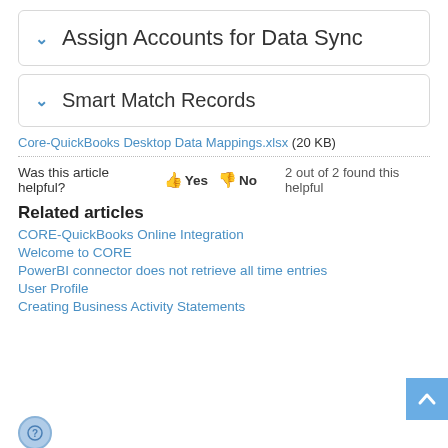Assign Accounts for Data Sync
Smart Match Records
Core-QuickBooks Desktop Data Mappings.xlsx (20 KB)
Was this article helpful? Yes No 2 out of 2 found this helpful
Related articles
CORE-QuickBooks Online Integration
Welcome to CORE
PowerBI connector does not retrieve all time entries
User Profile
Creating Business Activity Statements